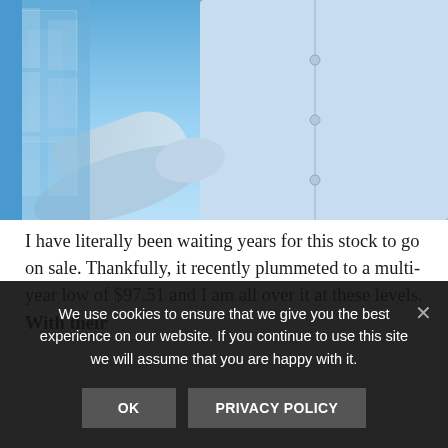[Figure (photo): Business person in light blue shirt appearing to shake hands or hold document, with office building in background. Blue-toned professional photo.]
I have literally been waiting years for this stock to go on sale. Thankfully, it recently plummeted to a multi-year low of $97.51 and I am all over it at these levels. With their [text cut off]
We use cookies to ensure that we give you the best experience on our website. If you continue to use this site we will assume that you are happy with it.
OK   PRIVACY POLICY